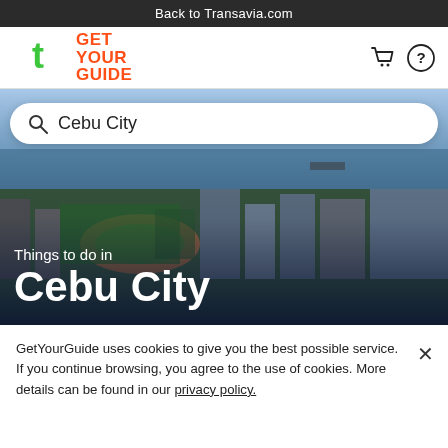Back to Transavia.com
[Figure (logo): Transavia green 't' logo in a white circle, and GetYourGuide logo in orange-red text, with cart and help icons on the right]
[Figure (photo): Aerial photograph of Cebu City showing urban landscape, buildings, green trees, a stadium track, and ocean/bay in the background]
Cebu City
Things to do in
Cebu City
GetYourGuide uses cookies to give you the best possible service. If you continue browsing, you agree to the use of cookies. More details can be found in our privacy policy.